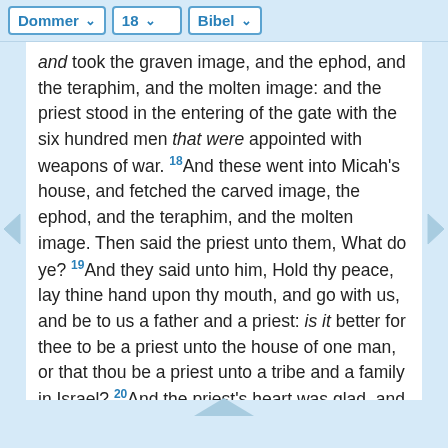Dommer  18  Bibel
and took the graven image, and the ephod, and the teraphim, and the molten image: and the priest stood in the entering of the gate with the six hundred men that were appointed with weapons of war. 18 And these went into Micah's house, and fetched the carved image, the ephod, and the teraphim, and the molten image. Then said the priest unto them, What do ye? 19 And they said unto him, Hold thy peace, lay thine hand upon thy mouth, and go with us, and be to us a father and a priest: is it better for thee to be a priest unto the house of one man, or that thou be a priest unto a tribe and a family in Israel? 20 And the priest's heart was glad, and he took the ephod, and the teraphim, and the graven image, and went in the midst of the people.